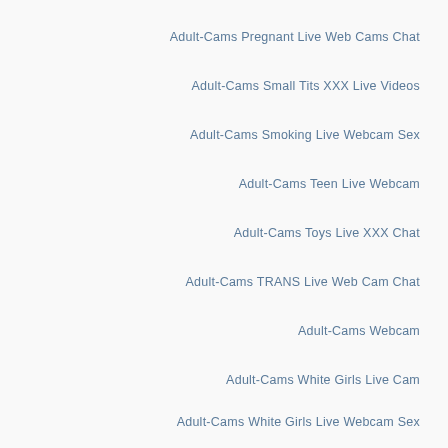Adult-Cams Pregnant Live Web Cams Chat
Adult-Cams Small Tits XXX Live Videos
Adult-Cams Smoking Live Webcam Sex
Adult-Cams Teen Live Webcam
Adult-Cams Toys Live XXX Chat
Adult-Cams TRANS Live Web Cam Chat
Adult-Cams Webcam
Adult-Cams White Girls Live Cam
Adult-Cams White Girls Live Webcam Sex